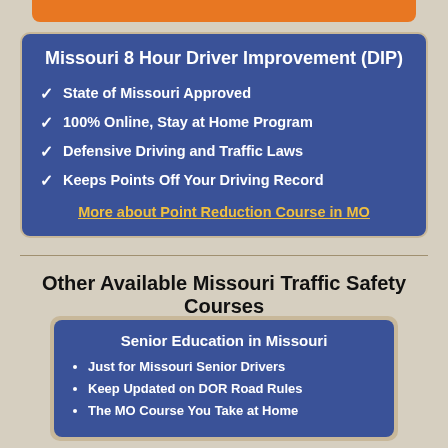Missouri 8 Hour Driver Improvement (DIP)
State of Missouri Approved
100% Online, Stay at Home Program
Defensive Driving and Traffic Laws
Keeps Points Off Your Driving Record
More about Point Reduction Course in MO
Other Available Missouri Traffic Safety Courses
Senior Education in Missouri
Just for Missouri Senior Drivers
Keep Updated on DOR Road Rules
The MO Course You Take at Home